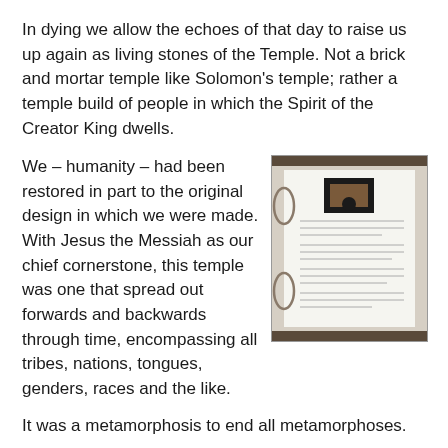In dying we allow the echoes of that day to raise us up again as living stones of the Temple. Not a brick and mortar temple like Solomon’s temple; rather a temple build of people in which the Spirit of the Creator King dwells.
We – humanity – had been restored in part to the original design in which we were made. With Jesus the Messiah as our chief cornerstone, this temple was one that spread out forwards and backwards through time, encompassing all tribes, nations, tongues, genders, races and the like.
[Figure (photo): A photograph of a document or certificate displayed on a clipboard or decorative holder with ornate scroll-work framing, showing text content that is not fully legible.]
It was a metamorphosis to end all metamorphoses.
The end of the world had come and the Kingdom of God had invaded human history!